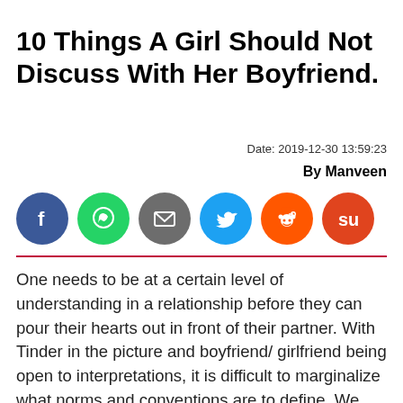10 Things A Girl Should Not Discuss With Her Boyfriend.
Date: 2019-12-30 13:59:23
By Manveen
[Figure (other): Social media share buttons: Facebook (blue), WhatsApp (green), Email (grey), Twitter (blue), Reddit (orange-red), StumbleUpon (orange-red)]
One needs to be at a certain level of understanding in a relationship before they can pour their hearts out in front of their partner. With Tinder in the picture and boyfriend/ girlfriend being open to interpretations, it is difficult to marginalize what norms and conventions are to define. We get it that you want to be truthful and honest with your boyfriend, but the truth at an incorrect time will do you no good either.